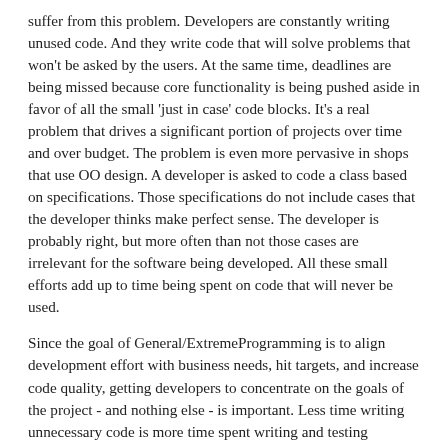suffer from this problem. Developers are constantly writing unused code. And they write code that will solve problems that won't be asked by the users. At the same time, deadlines are being missed because core functionality is being pushed aside in favor of all the small 'just in case' code blocks. It's a real problem that drives a significant portion of projects over time and over budget. The problem is even more pervasive in shops that use OO design. A developer is asked to code a class based on specifications. Those specifications do not include cases that the developer thinks make perfect sense. The developer is probably right, but more often than not those cases are irrelevant for the software being developed. All these small efforts add up to time being spent on code that will never be used.
Since the goal of General/ExtremeProgramming is to align development effort with business needs, hit targets, and increase code quality, getting developers to concentrate on the goals of the project - and nothing else - is important. Less time writing unnecessary code is more time spent writing and testing relevant code. –General/TimHart
Lots of meta-discussion moved to General/AnnoyinglyHeavyHandedWikiAdministrationDiscussion…